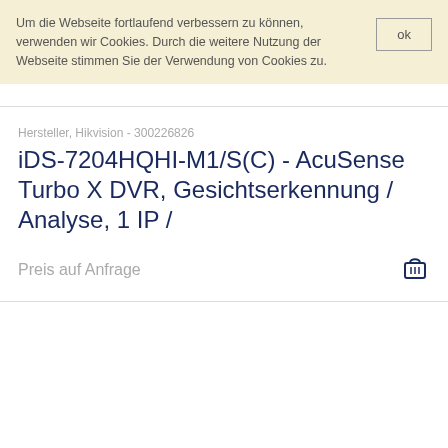Um die Webseite fortlaufend verbessern zu können, verwenden wir Cookies. Durch die weitere Nutzung der Webseite stimmen Sie der Verwendung von Cookies zu.
ok
Hersteller, Hikvision - 300226826
iDS-7204HQHI-M1/S(C) - AcuSense Turbo X DVR, Gesichtserkennung / Analyse, 1 IP /
Preis auf Anfrage